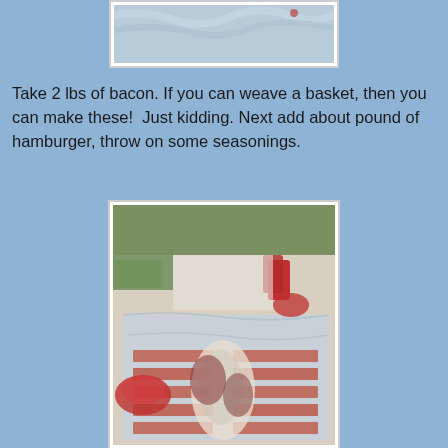[Figure (photo): Top portion of a photo showing foil/aluminum wrapping, partially cropped at the top of the page]
Take 2 lbs of bacon. If you can weave a basket, then you can make these!  Just kidding. Next add about pound of hamburger, throw on some seasonings.
[Figure (photo): Photo of raw bacon weave on aluminum foil with ground hamburger meat on top, surrounded by condiment bottles and bowls on a table outdoors]